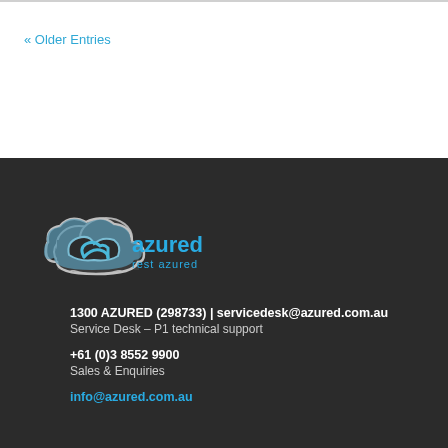« Older Entries
[Figure (logo): Azured logo: cloud icon in white/light blue with 'azured' text in cyan and 'rest azured' tagline below]
1300 AZURED (298733) | servicedesk@azured.com.au
Service Desk – P1 technical support
+61 (0)3 8552 9900
Sales & Enquiries
info@azured.com.au